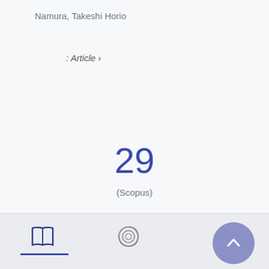Namura, Takeshi Horio
: Article ›
29
(Scopus)
[Figure (other): Bottom navigation bar with book icon, spiral icon, and a scroll-to-top button (chevron up arrow in a purple circle)]